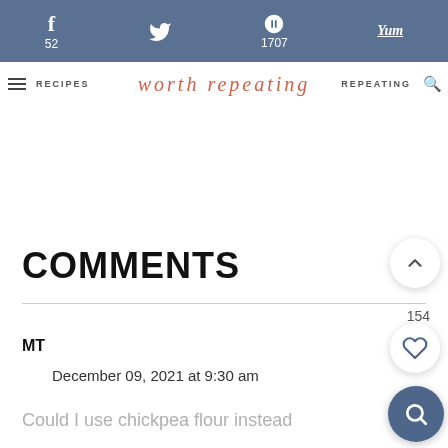f 52 | [twitter] | p 1707 | Yum
RECIPES | worth repeating | REPEATING
COMMENTS
154
MT
December 09, 2021 at 9:30 am
Could I use chickpea flour instead